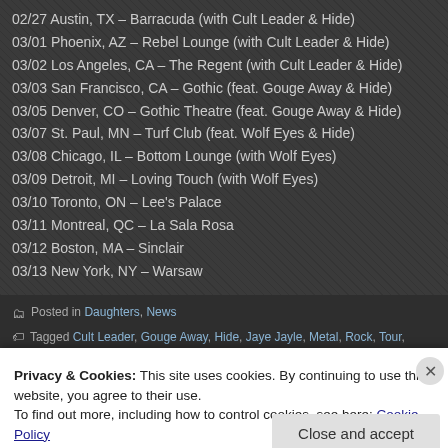02/27 Austin, TX – Barracuda (with Cult Leader & Hide)
03/01 Phoenix, AZ – Rebel Lounge (with Cult Leader & Hide)
03/02 Los Angeles, CA – The Regent (with Cult Leader & Hide)
03/03 San Francisco, CA – Gothic (feat. Gouge Away & Hide)
03/05 Denver, CO – Gothic Theatre (feat. Gouge Away & Hide)
03/07 St. Paul, MN – Turf Club (feat. Wolf Eyes & Hide)
03/08 Chicago, IL – Bottom Lounge (with Wolf Eyes)
03/09 Detroit, MI – Loving Touch (with Wolf Eyes)
03/10 Toronto, ON – Lee's Palace
03/11 Montreal, QC – La Sala Rosa
03/12 Boston, MA – Sinclair
03/13 New York, NY – Warsaw
Posted in Daughters, News
Tagged Cult Leader, Gouge Away, Hide, Jaye Jayle, Metal, Rock, Tour,
Privacy & Cookies: This site uses cookies. By continuing to use this website, you agree to their use. To find out more, including how to control cookies, see here: Cookie Policy
Close and accept